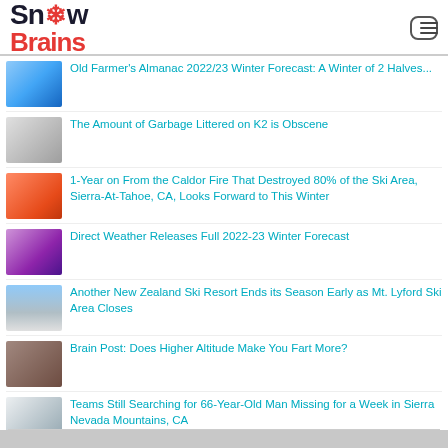SnowBrains
Old Farmer's Almanac 2022/23 Winter Forecast: A Winter of 2 Halves...
The Amount of Garbage Littered on K2 is Obscene
1-Year on From the Caldor Fire That Destroyed 80% of the Ski Area, Sierra-At-Tahoe, CA, Looks Forward to This Winter
Direct Weather Releases Full 2022-23 Winter Forecast
Another New Zealand Ski Resort Ends its Season Early as Mt. Lyford Ski Area Closes
Brain Post: Does Higher Altitude Make You Fart More?
Teams Still Searching for 66-Year-Old Man Missing for a Week in Sierra Nevada Mountains, CA